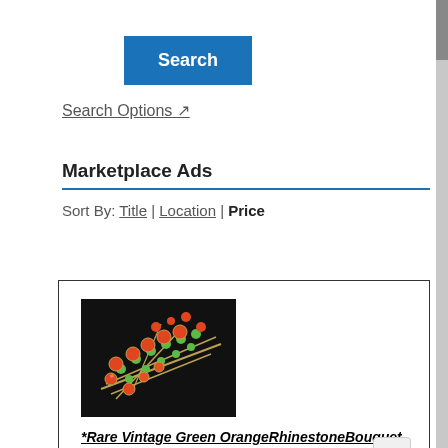[Figure (other): Blue Search button]
Search Options ↗
Marketplace Ads
Sort By: Title | Location | Price
[Figure (photo): Photo of a vintage green and orange rhinestone bouquet brooch on a black background]
*Rare Vintage Green OrangeRhinestoneBouquet Brooch
Denver, CO